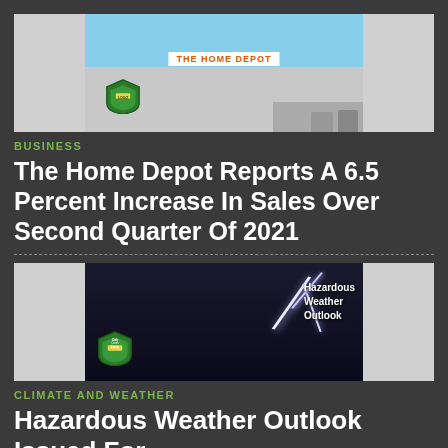[Figure (photo): The Home Depot store exterior with parking lot and blue sky, with a green shield/badge logo overlay]
BUSINESS
The Home Depot Reports A 6.5 Percent Increase In Sales Over Second Quarter Of 2021
[Figure (photo): Hazardous Weather Outlook image showing lightning storm with green shield/badge logo overlay and text reading 'Hazardous Weather Outlook']
CLIMATE AND WEATHER
Hazardous Weather Outlook Issued For